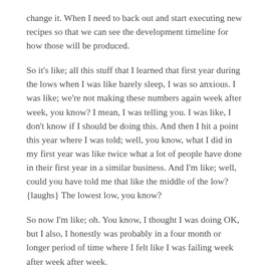change it. When I need to back out and start executing new recipes so that we can see the development timeline for how those will be produced.
So it's like; all this stuff that I learned that first year during the lows when I was like barely sleep, I was so anxious. I was like; we're not making these numbers again week after week, you know? I mean, I was telling you. I was like, I don't know if I should be doing this. And then I hit a point this year where I was told; well, you know, what I did in my first year was like twice what a lot of people have done in their first year in a similar business. And I'm like; well, could you have told me that like the middle of the low? {laughs} The lowest low, you know?
So now I'm like; oh. You know, I thought I was doing OK, but I also, I honestly was probably in a four month or longer period of time where I felt like I was failing week after week after week.